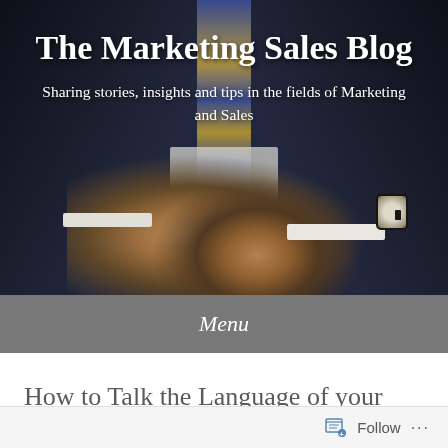[Figure (photo): Dark background showing a businessman in a navy suit with striped tie and wristwatch, hands clasped together, serving as the blog header hero image]
The Marketing Sales Blog
Sharing stories, insights and tips in the fields of Marketing and Sales
Menu
How to Talk the Language of your Customers
Follow ...